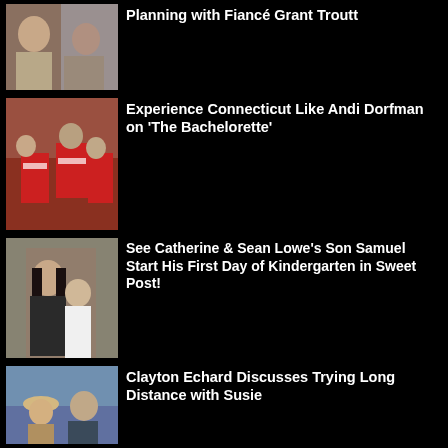[Figure (photo): Couple photo showing engagement ring]
Planning with Fiancé Grant Troutt
[Figure (photo): People in ROSEBUDS red basketball jerseys on a court]
Experience Connecticut Like Andi Dorfman on 'The Bachelorette'
[Figure (photo): Woman with dark hair hugging a young boy in white shirt in front of a door]
See Catherine & Sean Lowe's Son Samuel Start His First Day of Kindergarten in Sweet Post!
[Figure (photo): Man and woman in hat, close-up outdoor photo]
Clayton Echard Discusses Trying Long Distance with Susie